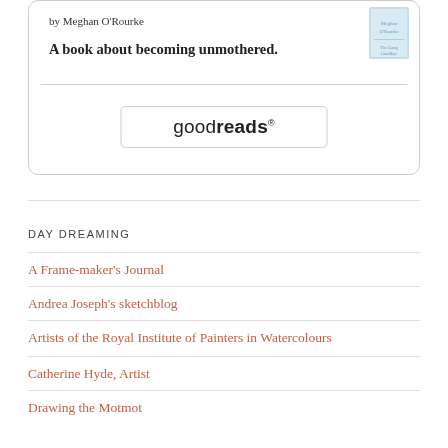by Meghan O'Rourke
A book about becoming unmothered.
[Figure (logo): Goodreads button/logo with text 'goodreads' in a rounded rectangle border]
DAY DREAMING
A Frame-maker's Journal
Andrea Joseph's sketchblog
Artists of the Royal Institute of Painters in Watercolours
Catherine Hyde, Artist
Drawing the Motmot